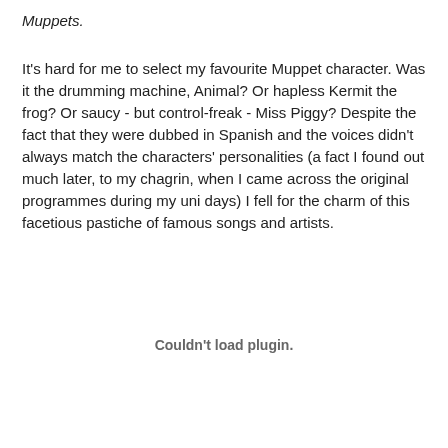Muppets.
It's hard for me to select my favourite Muppet character. Was it the drumming machine, Animal? Or hapless Kermit the frog? Or saucy - but control-freak - Miss Piggy? Despite the fact that they were dubbed in Spanish and the voices didn't always match the characters' personalities (a fact I found out much later, to my chagrin, when I came across the original programmes during my uni days) I fell for the charm of this facetious pastiche of famous songs and artists.
Couldn't load plugin.